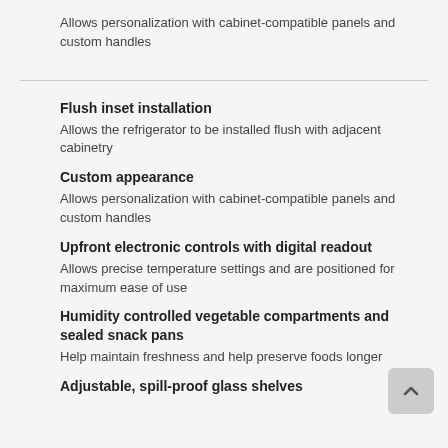Allows personalization with cabinet-compatible panels and custom handles
Flush inset installation
Allows the refrigerator to be installed flush with adjacent cabinetry
Custom appearance
Allows personalization with cabinet-compatible panels and custom handles
Upfront electronic controls with digital readout
Allows precise temperature settings and are positioned for maximum ease of use
Humidity controlled vegetable compartments and sealed snack pans
Help maintain freshness and help preserve foods longer
Adjustable, spill-proof glass shelves